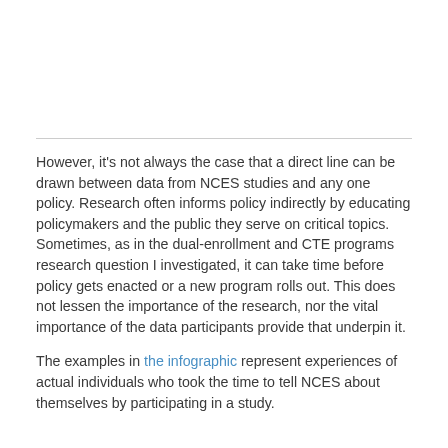However, it's not always the case that a direct line can be drawn between data from NCES studies and any one policy. Research often informs policy indirectly by educating policymakers and the public they serve on critical topics. Sometimes, as in the dual-enrollment and CTE programs research question I investigated, it can take time before policy gets enacted or a new program rolls out. This does not lessen the importance of the research, nor the vital importance of the data participants provide that underpin it.
The examples in the infographic represent experiences of actual individuals who took the time to tell NCES about themselves by participating in a study.